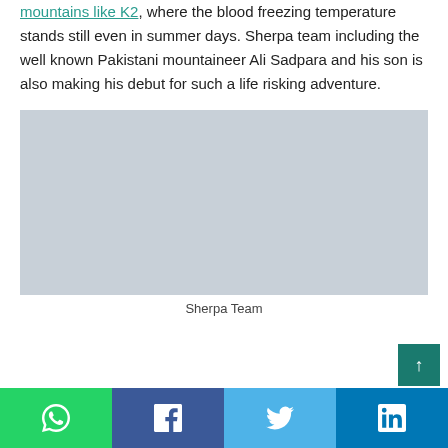mountains like K2, where the blood freezing temperature stands still even in summer days. Sherpa team including the well known Pakistani mountaineer Ali Sadpara and his son is also making his debut for such a life risking adventure.
[Figure (photo): A grey placeholder image representing a Sherpa Team photo]
Sherpa Team
WhatsApp | Facebook | Twitter | LinkedIn share buttons